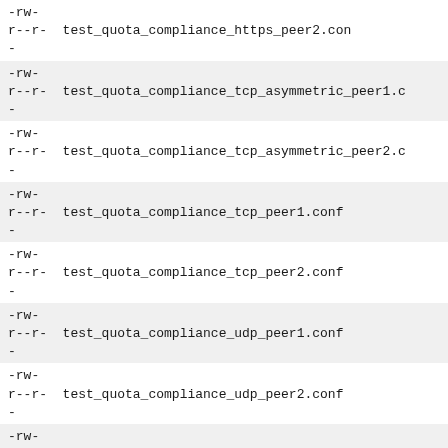-rw-r--r-  test_quota_compliance_https_peer2.conf
-
-rw-r--r-  test_quota_compliance_tcp_asymmetric_peer1.c
-
-rw-r--r-  test_quota_compliance_tcp_asymmetric_peer2.c
-
-rw-r--r-  test_quota_compliance_tcp_peer1.conf
-
-rw-r--r-  test_quota_compliance_tcp_peer2.conf
-
-rw-r--r-  test_quota_compliance_udp_peer1.conf
-
-rw-r--r-  test_quota_compliance_udp_peer2.conf
-
-rw-r--r-  test_quota_compliance_unix_asymmetric_peer1.
-
-rw-r--r-  test_quota_compliance_unix_asymmetric_peer2.
-
-rw-r--r-  test_quota_compliance_unix_peer1.conf
-